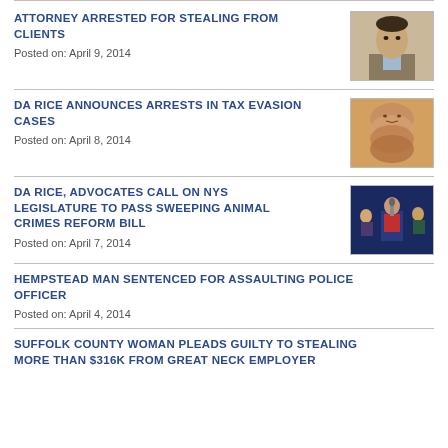ATTORNEY ARRESTED FOR STEALING FROM CLIENTS
Posted on: April 9, 2014
[Figure (photo): Headshot photo of a man in a suit]
DA RICE ANNOUNCES ARRESTS IN TAX EVASION CASES
Posted on: April 8, 2014
[Figure (photo): Stacked faces/mugshots image]
DA RICE, ADVOCATES CALL ON NYS LEGISLATURE TO PASS SWEEPING ANIMAL CRIMES REFORM BILL
Posted on: April 7, 2014
[Figure (photo): Press conference or meeting photo]
HEMPSTEAD MAN SENTENCED FOR ASSAULTING POLICE OFFICER
Posted on: April 4, 2014
SUFFOLK COUNTY WOMAN PLEADS GUILTY TO STEALING MORE THAN $316K FROM GREAT NECK EMPLOYER